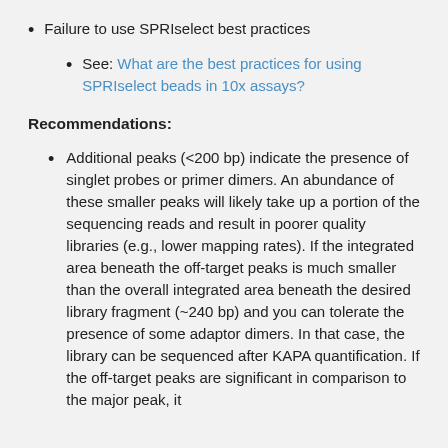Failure to use SPRIselect best practices
See: What are the best practices for using SPRIselect beads in 10x assays?
Recommendations:
Additional peaks (<200 bp) indicate the presence of singlet probes or primer dimers. An abundance of these smaller peaks will likely take up a portion of the sequencing reads and result in poorer quality libraries (e.g., lower mapping rates). If the integrated area beneath the off-target peaks is much smaller than the overall integrated area beneath the desired library fragment (~240 bp) and you can tolerate the presence of some adaptor dimers. In that case, the library can be sequenced after KAPA quantification. If the off-target peaks are significant in comparison to the major peak, it